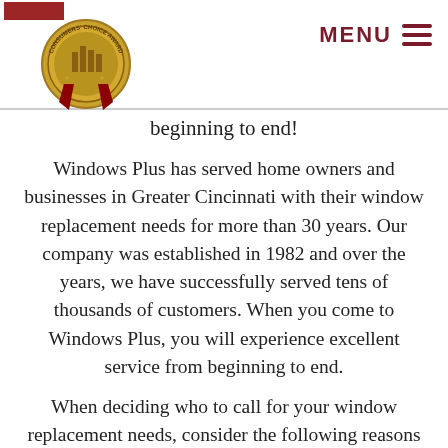Consumers' Choice Award logo | MENU
beginning to end!
Windows Plus has served home owners and businesses in Greater Cincinnati with their window replacement needs for more than 30 years. Our company was established in 1982 and over the years, we have successfully served tens of thousands of customers. When you come to Windows Plus, you will experience excellent service from beginning to end.
When deciding who to call for your window replacement needs, consider the following reasons to choose us:
We have been chosen to be on Angie's List Super Service Award for several years running